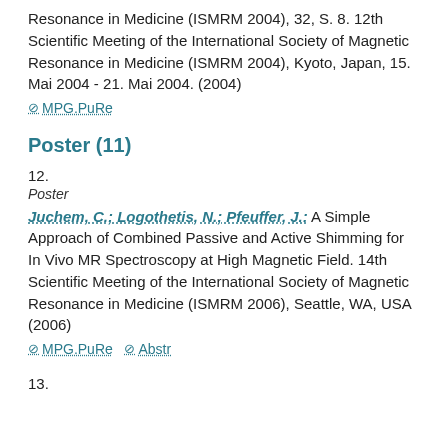Resonance in Medicine (ISMRM 2004), 32, S. 8. 12th Scientific Meeting of the International Society of Magnetic Resonance in Medicine (ISMRM 2004), Kyoto, Japan, 15. Mai 2004 - 21. Mai 2004. (2004)
⊘ MPG.PuRe
Poster (11)
12.
Poster
Juchem, C.; Logothetis, N.; Pfeuffer, J.: A Simple Approach of Combined Passive and Active Shimming for In Vivo MR Spectroscopy at High Magnetic Field. 14th Scientific Meeting of the International Society of Magnetic Resonance in Medicine (ISMRM 2006), Seattle, WA, USA (2006)
⊘ MPG.PuRe  ⊘ Abstr
13.